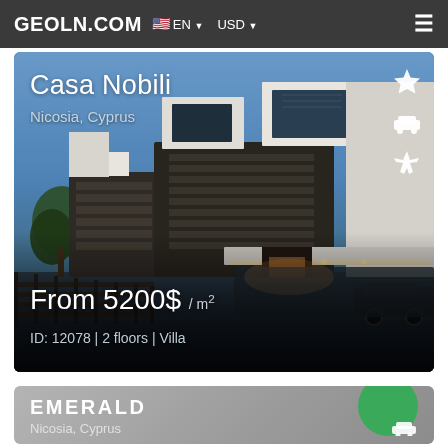GEOLN.COM  EN  USD
[Figure (photo): Architectural rendering of Casa Nobili luxury villa in Nicosia, Cyprus. Modern two-story box-form villa with white and wood-panel facades, large windows, flat roofs, illuminated driveway at dusk with blue sky background.]
Casa Nobili
Nicosia, Cyprus
From 5200$ / m²
ID: 12078 | 2 floors | Villa
EMERALD
Nicosia, Cyprus